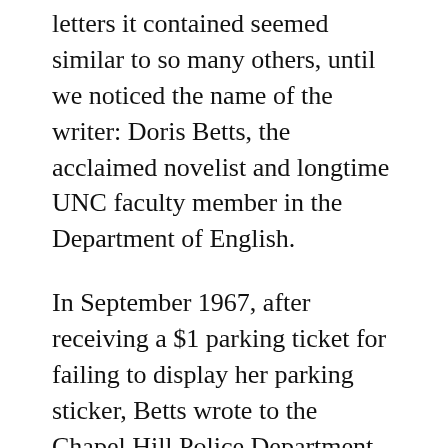letters it contained seemed similar to so many others, until we noticed the name of the writer: Doris Betts, the acclaimed novelist and longtime UNC faculty member in the Department of English.
In September 1967, after receiving a $1 parking ticket for failing to display her parking sticker, Betts wrote to the Chapel Hill Police Department, with a copy of her letter to Chancellor Sitterson. “Having paid the dollar,” she wrote, “I now feel entitled to complain.”
In what is easily the most literary parking complaint we’ve ever read, Betts addressed the absurdity of receiving a ticket while parking in order to pick up her faculty parking permit.